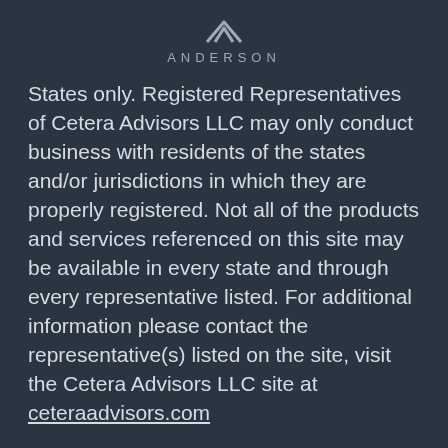[Figure (logo): Anderson logo with stylized 'A' symbol above the word ANDERSON in spaced capital letters]
States only. Registered Representatives of Cetera Advisors LLC may only conduct business with residents of the states and/or jurisdictions in which they are properly registered. Not all of the products and services referenced on this site may be available in every state and through every representative listed. For additional information please contact the representative(s) listed on the site, visit the Cetera Advisors LLC site at ceteraadvisors.com
Individuals affiliated with this broker/dealer firm are either Registered Representatives who offer only brokerage services and receive transaction-based compensation (commissions), Investment Adviser